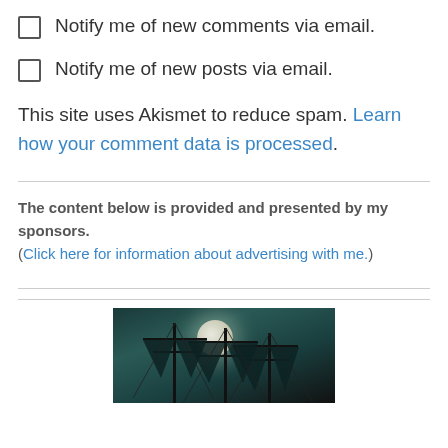Notify me of new comments via email.
Notify me of new posts via email.
This site uses Akismet to reduce spam. Learn how your comment data is processed.
The content below is provided and presented by my sponsors. (Click here for information about advertising with me.)
[Figure (photo): Dark atmospheric image of sailing ship masts silhouetted against a glowing full moon in a teal/dark night sky]